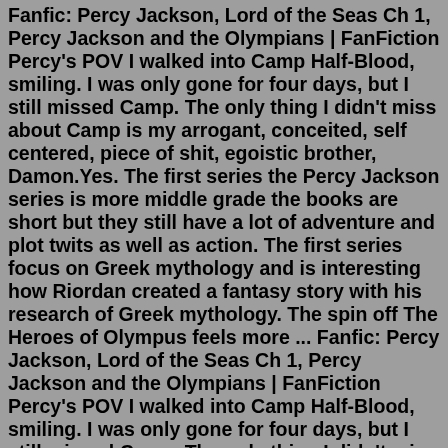Fanfic: Percy Jackson, Lord of the Seas Ch 1, Percy Jackson and the Olympians | FanFiction Percy's POV I walked into Camp Half-Blood, smiling. I was only gone for four days, but I still missed Camp. The only thing I didn't miss about Camp is my arrogant, conceited, self centered, piece of shit, egoistic brother, Damon.Yes. The first series the Percy Jackson series is more middle grade the books are short but they still have a lot of adventure and plot twits as well as action. The first series focus on Greek mythology and is interesting how Riordan created a fantasy story with his research of Greek mythology. The spin off The Heroes of Olympus feels more ... Fanfic: Percy Jackson, Lord of the Seas Ch 1, Percy Jackson and the Olympians | FanFiction Percy's POV I walked into Camp Half-Blood, smiling. I was only gone for four days, but I still missed Camp. The only thing I didn't miss about Camp is my arrogant, conceited, self centered, piece of shit, egoistic brother, Damon.Disclaimer I Both 'The Percy Jackson and Olympians' Series and 'The Heroes of Olympus' series...